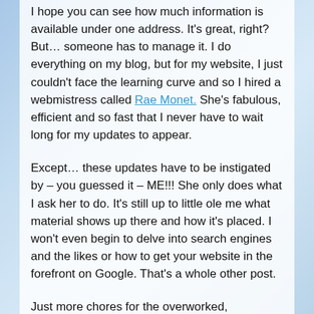I hope you can see how much information is available under one address. It's great, right? But… someone has to manage it. I do everything on my blog, but for my website, I just couldn't face the learning curve and so I hired a webmistress called Rae Monet. She's fabulous, efficient and so fast that I never have to wait long for my updates to appear.
Except… these updates have to be instigated by – you guessed it – ME!!! She only does what I ask her to do. It's still up to little ole me what material shows up there and how it's placed. I won't even begin to delve into search engines and the likes or how to get your website in the forefront on Google. That's a whole other post.
Just more chores for the overworked, underpaid,